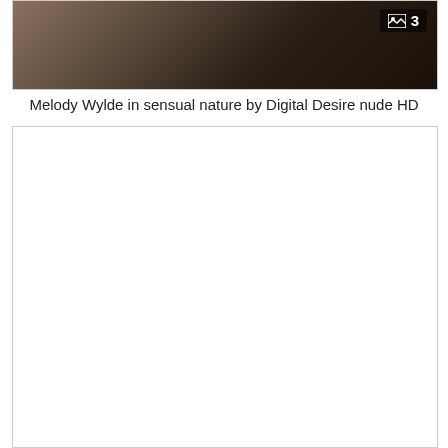[Figure (photo): Thumbnail image showing a dark surface, possibly a piano or furniture, with a badge showing image icon and number 3 in the top right corner]
Melody Wylde in sensual nature by Digital Desire nude HD
[Figure (photo): Large empty white image placeholder box with a thin border]